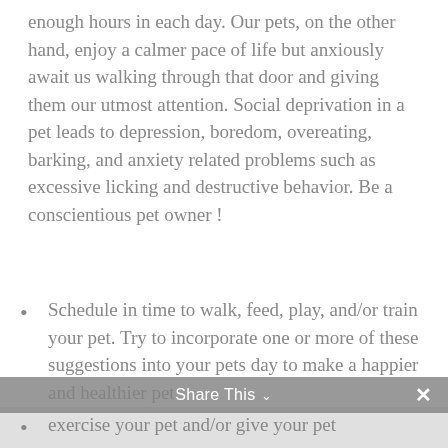enough hours in each day. Our pets, on the other hand, enjoy a calmer pace of life but anxiously await us walking through that door and giving them our utmost attention. Social deprivation in a pet leads to depression, boredom, overeating, barking, and anxiety related problems such as excessive licking and destructive behavior. Be a conscientious pet owner !
Schedule in time to walk, feed, play, and/or train your pet. Try to incorporate one or more of these suggestions into your pets day to make a happier and healthier pet:
exercise your pet and/or give your pet